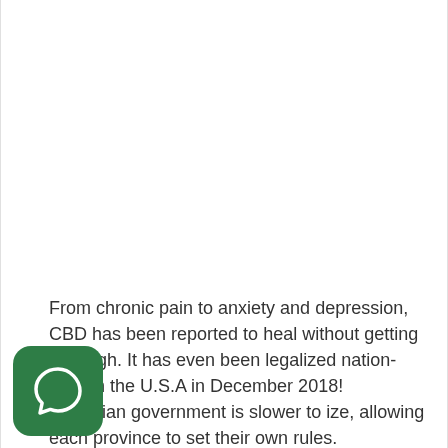From chronic pain to anxiety and depression, CBD has been reported to heal without getting you high. It has even been legalized nation-wide in the U.S.A in December 2018! Canadian government is slower to ize, allowing each province to set their own rules.
[Figure (illustration): Green rounded square icon with a white speech bubble / chat bubble symbol]